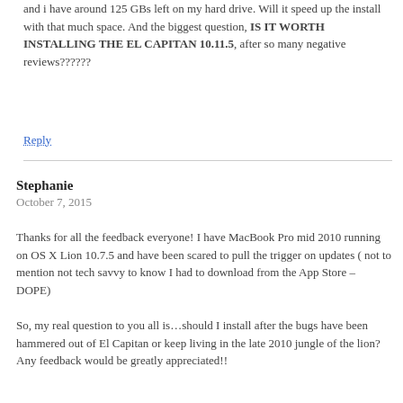and i have around 125 GBs left on my hard drive. Will it speed up the install with that much space. And the biggest question, IS IT WORTH INSTALLING THE EL CAPITAN 10.11.5, after so many negative reviews??????
Reply
Stephanie
October 7, 2015
Thanks for all the feedback everyone! I have MacBook Pro mid 2010 running on OS X Lion 10.7.5 and have been scared to pull the trigger on updates ( not to mention not tech savvy to know I had to download from the App Store – DOPE)
So, my real question to you all is…should I install after the bugs have been hammered out of El Capitan or keep living in the late 2010 jungle of the lion? Any feedback would be greatly appreciated!!
Reply